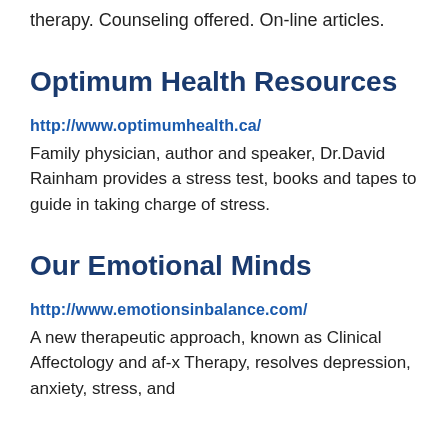therapy. Counseling offered. On-line articles.
Optimum Health Resources
http://www.optimumhealth.ca/
Family physician, author and speaker, Dr.David Rainham provides a stress test, books and tapes to guide in taking charge of stress.
Our Emotional Minds
http://www.emotionsinbalance.com/
A new therapeutic approach, known as Clinical Affectology and af-x Therapy, resolves depression, anxiety, stress, and